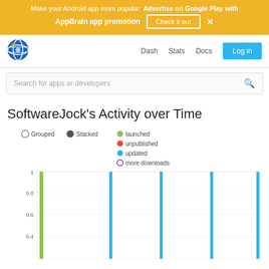Make your Android app more popular   Advertise on Google Play with AppBrain app promotion   Check it out  ×
[Figure (screenshot): AppBrain logo globe icon in navbar]
Dash   Stats   Docs   Log in
Search for apps or developers
SoftwareJock's Activity over Time
[Figure (bar-chart): Bar chart showing activity over time with vertical bars. Y-axis from 0.4 to 1. Green bar at left, cyan/blue bars at multiple time points across the chart.]